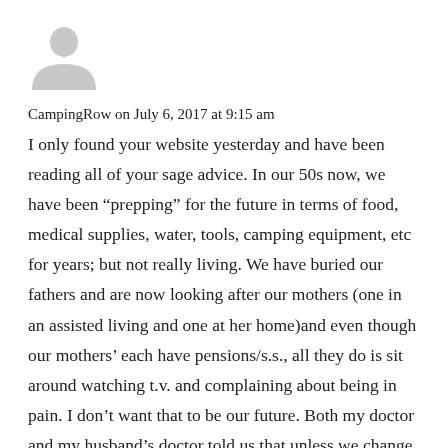[Figure (illustration): Gray placeholder avatar silhouette icon of a person]
CampingRow on July 6, 2017 at 9:15 am
I only found your website yesterday and have been reading all of your sage advice. In our 50s now, we have been “prepping” for the future in terms of food, medical supplies, water, tools, camping equipment, etc for years; but not really living. We have buried our fathers and are now looking after our mothers (one in an assisted living and one at her home)and even though our mothers’ each have pensions/s.s., all they do is sit around watching t.v. and complaining about being in pain. I don’t want that to be our future. Both my doctor and my husband’s doctor told us that unless we change our